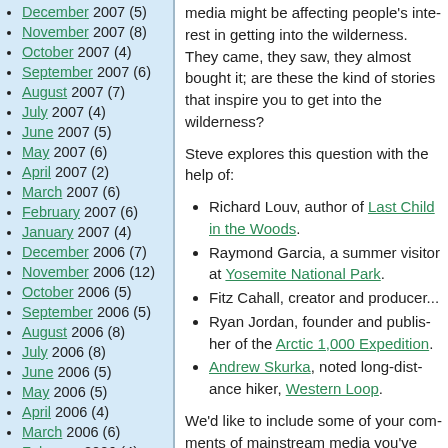December 2007 (5)
November 2007 (8)
October 2007 (4)
September 2007 (6)
August 2007 (7)
July 2007 (4)
June 2007 (5)
May 2007 (6)
April 2007 (2)
March 2007 (6)
February 2007 (6)
January 2007 (4)
December 2006 (7)
November 2006 (12)
October 2006 (5)
September 2006 (5)
August 2006 (8)
July 2006 (8)
June 2006 (5)
May 2006 (5)
April 2006 (4)
March 2006 (6)
February 2006 (4)
January 2006 (7)
December 2005 (4)
November 2005 (7)
October 2005 (6)
September 2005 (6)
August 2005 (3)
July 2005 (2)
media might be affecting people's interest in getting into the wilderness. They came, they saw, they almost bought it; are these the kind of stories that inspire you to get into the wilderness?
Steve explores this question with the help of:
Richard Louv, author of Last Ch... the Woods.
Raymond Garcia, a summer visi... Yosemite National Park.
Fitz Cahall, creator and produce...
Ryan Jordan, founder and publis... the Arctic 1,000 Expedition.
Andrew Skurka, noted long-dist... Western Loop.
We'd like to include some of your com... of mainstream media you've read, liste... what you saw? Better yet, how about e... adventures that seemed completely wi... know by calling our toll-free comment...
Next week, in part 2, we'll try to ansu...